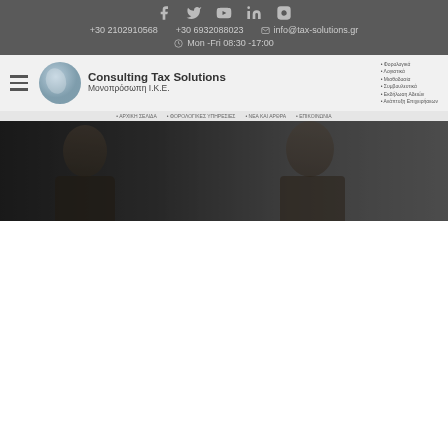Social icons: Facebook, Twitter, YouTube, LinkedIn, Instagram
+30 2102910568  +30 6932088023  info@tax-solutions.gr
Mon -Fri 08:30 -17:00
[Figure (logo): Consulting Tax Solutions Μονοπρόσωπη Ι.Κ.Ε. company logo with circular blue/grey graphic and bullet list of services]
[Figure (photo): Hero banner photo showing two men in an office consulting environment, dark/grey toned]